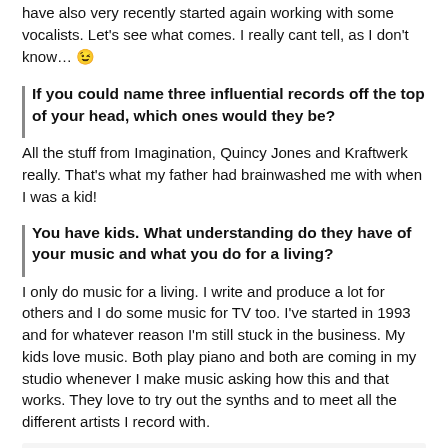have also very recently started again working with some vocalists. Let's see what comes. I really cant tell, as I don't know… 😉
| If you could name three influential records off the top of your head, which ones would they be?
All the stuff from Imagination, Quincy Jones and Kraftwerk really. That's what my father had brainwashed me with when I was a kid!
| You have kids. What understanding do they have of your music and what you do for a living?
I only do music for a living. I write and produce a lot for others and I do some music for TV too. I've started in 1993 and for whatever reason I'm still stuck in the business. My kids love music. Both play piano and both are coming in my studio whenever I make music asking how this and that works. They love to try out the synths and to meet all the different artists I record with.
[Figure (other): SoundCloud embedded player bar showing orange play button and track title 'Kris Menace – Fairlight']
| You have a number of projects, all with their own unique